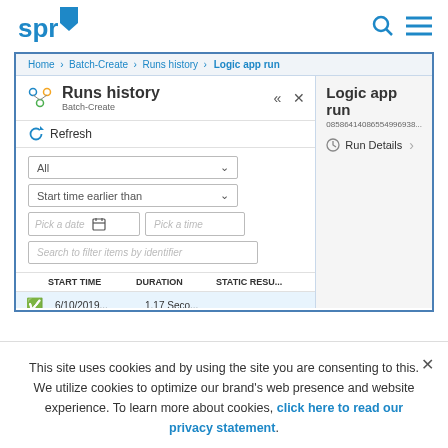[Figure (screenshot): SPR website header with logo and navigation icons (search and hamburger menu)]
[Figure (screenshot): Azure Logic Apps screenshot showing Runs history panel with breadcrumb 'Home > Batch-Create > Runs history > Logic app run', filter dropdowns (All, Start time earlier than), date/time pickers, search box, table with columns START TIME, DURATION, STATIC RESU..., and one row showing 6/10/2019... | 1.17 Seco... with green checkmark. Right panel shows 'Logic app run' with ID 08586414086554996938... and Run Details button.]
This site uses cookies and by using the site you are consenting to this. We utilize cookies to optimize our brand’s web presence and website experience. To learn more about cookies, click here to read our privacy statement.